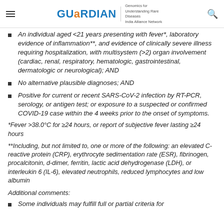GUaRDIAN | Genomics for Understanding Rare Diseases India Alliance Network
An individual aged <21 years presenting with fever*, laboratory evidence of inflammation**, and evidence of clinically severe illness requiring hospitalization, with multisystem (>2) organ involvement (cardiac, renal, respiratory, hematologic, gastrointestinal, dermatologic or neurological); AND
No alternative plausible diagnoses; AND
Positive for current or recent SARS-CoV-2 infection by RT-PCR, serology, or antigen test; or exposure to a suspected or confirmed COVID-19 case within the 4 weeks prior to the onset of symptoms.
*Fever >38.0°C for ≥24 hours, or report of subjective fever lasting ≥24 hours
**Including, but not limited to, one or more of the following: an elevated C-reactive protein (CRP), erythrocyte sedimentation rate (ESR), fibrinogen, procalcitonin, d-dimer, ferritin, lactic acid dehydrogenase (LDH), or interleukin 6 (IL-6), elevated neutrophils, reduced lymphocytes and low albumin
Additional comments:
Some individuals may fulfill full or partial criteria for